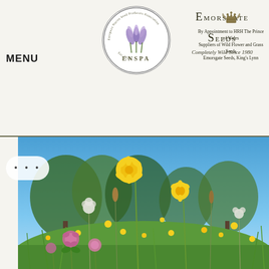MENU
[Figure (logo): ENSPA - European Native Seed Producers Association circular logo with iris flower illustration, Est. 2020]
Emorsgate Seeds
Completely Wild Since 1980
[Figure (logo): Royal crest/warrant emblem]
By Appointment to HRH The Prince of Wales Suppliers of Wild Flower and Grass Seeds Emorsgate Seeds, King's Lynn
[Figure (photo): Wildflower meadow photographed from low angle showing yellow buttercups, pink clover, and white flowers against blue sky with trees in background]